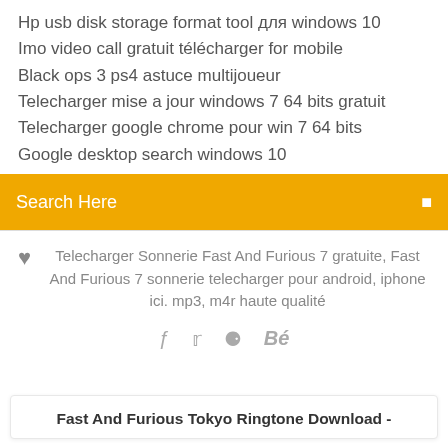Hp usb disk storage format tool для windows 10
Imo video call gratuit télécharger for mobile
Black ops 3 ps4 astuce multijoueur
Telecharger mise a jour windows 7 64 bits gratuit
Telecharger google chrome pour win 7 64 bits
Google desktop search windows 10
Search Here
Telecharger Sonnerie Fast And Furious 7 gratuite, Fast And Furious 7 sonnerie telecharger pour android, iphone ici. mp3, m4r haute qualité
Fast And Furious Tokyo Ringtone Download -